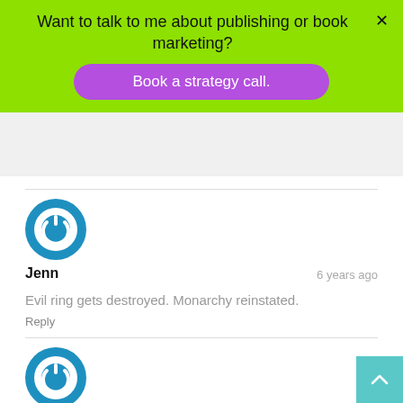Want to talk to me about publishing or book marketing?
Book a strategy call.
[Figure (illustration): Blue circular power/refresh icon avatar for user Jenn]
Jenn
6 years ago
Evil ring gets destroyed. Monarchy reinstated.
Reply
[Figure (illustration): Blue circular power/refresh icon avatar for user Rick Aster]
Rick Aster (@rickaster)
6 years ago
The Ring met its Mount Doom.
Reply